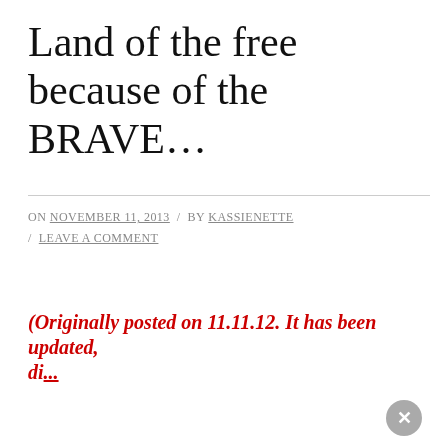Land of the free because of the BRAVE...
ON NOVEMBER 11, 2013 / BY KASSIENETTE / LEAVE A COMMENT
(Originally posted on 11.11.12. It has been updated, di...
Privacy & Cookies: This site uses cookies. By continuing to use this website, you agree to their use. To find out more, including how to control cookies, see here: Cookie Policy
Close and accept